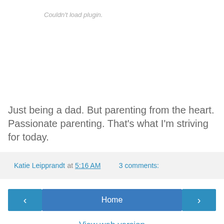Couldn't load plugin.
Just being a dad. But parenting from the heart. Passionate parenting. That's what I'm striving for today.
Katie Leipprandt at 5:16 AM   3 comments:
‹
Home
›
View web version
Powered by Blogger.